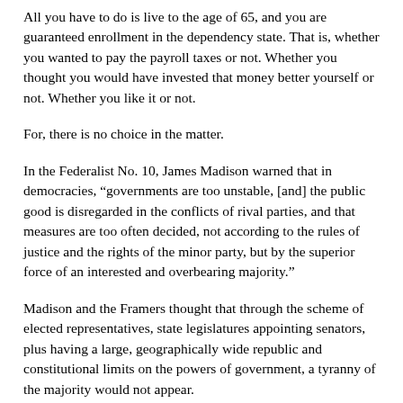All you have to do is live to the age of 65, and you are guaranteed enrollment in the dependency state. That is, whether you wanted to pay the payroll taxes or not. Whether you thought you would have invested that money better yourself or not. Whether you like it or not.
For, there is no choice in the matter.
In the Federalist No. 10, James Madison warned that in democracies, “governments are too unstable, [and] the public good is disregarded in the conflicts of rival parties, and that measures are too often decided, not according to the rules of justice and the rights of the minor party, but by the superior force of an interested and overbearing majority.”
Madison and the Framers thought that through the scheme of elected representatives, state legislatures appointing senators, plus having a large, geographically wide republic and constitutional limits on the powers of government, a tyranny of the majority would not appear.